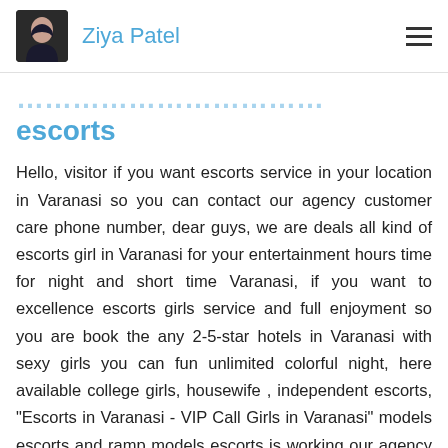Ziya Patel
escorts
Hello, visitor if you want escorts service in your location in Varanasi so you can contact our agency customer care phone number, dear guys, we are deals all kind of escorts girl in Varanasi for your entertainment hours time for night and short time Varanasi, if you want to excellence escorts girls service and full enjoyment so you are book the any 2-5-star hotels in Varanasi with sexy girls you can fun unlimited colorful night, here available college girls, housewife , independent escorts, "Escorts in Varanasi - VIP Call Girls in Varanasi" models escorts and ramp models escorts is working our agency in Varanasi note one think normal deals